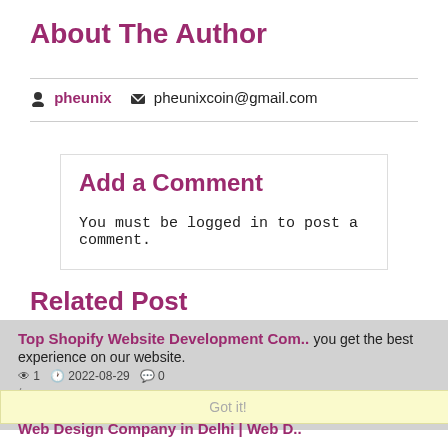About The Author
pheunix   pheunixcoin@gmail.com
Add a Comment
You must be logged in to post a comment.
Related Post
Top Shopify Website Development Com..   you get the best experience on our website.   Learn more
1   2022-08-29   0
The Shopify development company in the USA, Kretoss Technology, pr...
Got it!
Web Design Company in Delhi | Web D..